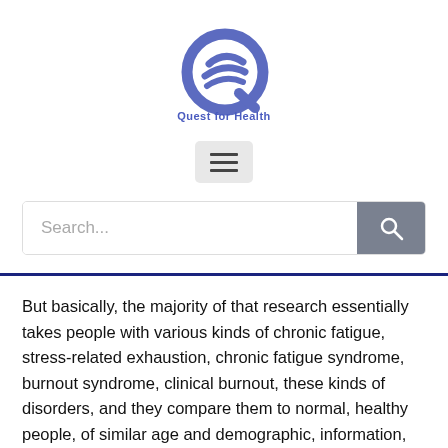[Figure (logo): Quest for Health logo — blue stylized Q with swoosh lines, with 'Quest for Health' text below in blue]
[Figure (other): Hamburger menu button — three horizontal lines on a light grey rounded rectangle background]
[Figure (other): Search bar with placeholder text 'Search...' and a grey search button with magnifying glass icon]
But basically, the majority of that research essentially takes people with various kinds of chronic fatigue, stress-related exhaustion, chronic fatigue syndrome, burnout syndrome, clinical burnout, these kinds of disorders, and they compare them to normal, healthy people, of similar age and demographic, information, and lifestyle factors, smoking,